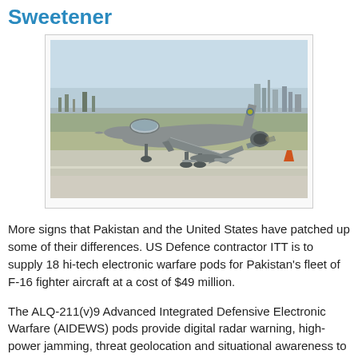Sweetener
[Figure (photo): A Pakistan Air Force F-16 fighter aircraft taxiing on a runway, photographed from the side. The aircraft is grey with markings visible on the tail. The background shows a flat airfield with sparse vegetation and industrial structures on the horizon under a pale sky.]
More signs that Pakistan and the United States have patched up some of their differences. US Defence contractor ITT is to supply 18 hi-tech electronic warfare pods for Pakistan's fleet of F-16 fighter aircraft at a cost of $49 million.
The ALQ-211(v)9 Advanced Integrated Defensive Electronic Warfare (AIDEWS) pods provide digital radar warning, high-power jamming, threat geolocation and situational awareness to the aircraft via a pod that is attached beneath the aircraft. It can also detect chemical weapons. It is the first production order for the pod which will also be made available to a number of other countries, including Oman and Taiwan.
The sale was first requested (and partly paid for) in 2008. A...